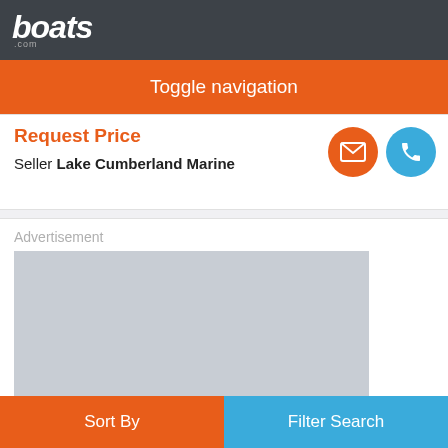boats.com
Toggle navigation
Request Price
Seller Lake Cumberland Marine
[Figure (screenshot): Advertisement placeholder gray rectangle]
Sort By | Filter Search